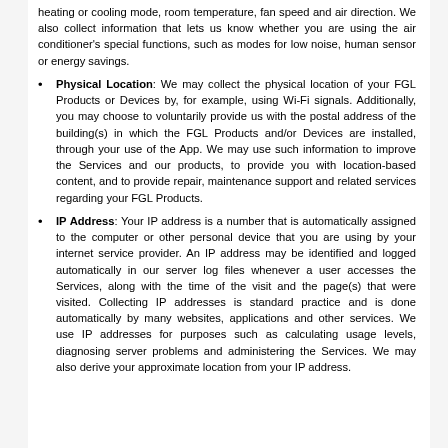heating or cooling mode, room temperature, fan speed and air direction. We also collect information that lets us know whether you are using the air conditioner's special functions, such as modes for low noise, human sensor or energy savings.
Physical Location: We may collect the physical location of your FGL Products or Devices by, for example, using Wi-Fi signals. Additionally, you may choose to voluntarily provide us with the postal address of the building(s) in which the FGL Products and/or Devices are installed, through your use of the App. We may use such information to improve the Services and our products, to provide you with location-based content, and to provide repair, maintenance support and related services regarding your FGL Products.
IP Address: Your IP address is a number that is automatically assigned to the computer or other personal device that you are using by your internet service provider. An IP address may be identified and logged automatically in our server log files whenever a user accesses the Services, along with the time of the visit and the page(s) that were visited. Collecting IP addresses is standard practice and is done automatically by many websites, applications and other services. We use IP addresses for purposes such as calculating usage levels, diagnosing server problems and administering the Services. We may also derive your approximate location from your IP address.